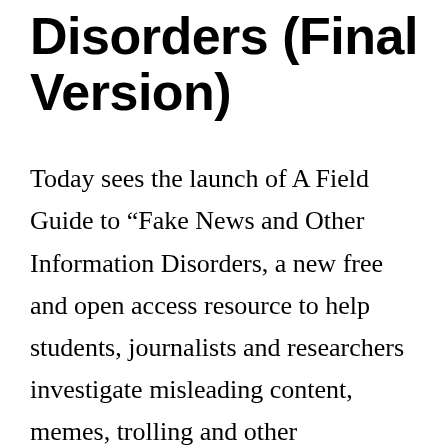Disorders (Final Version)
Today sees the launch of A Field Guide to “Fake News and Other Information Disorders, a new free and open access resource to help students, journalists and researchers investigate misleading content, memes, trolling and other phenomena associated with recent debates around “fake news”. The field guide responds to an